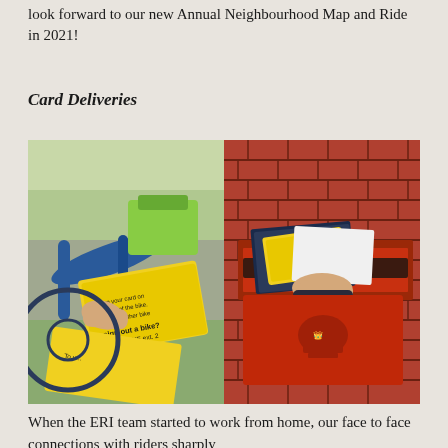look forward to our new Annual Neighbourhood Map and Ride in 2021!
Card Deliveries
[Figure (photo): Two photos side by side: left photo shows a hand holding a yellow membership/access card against a blue bicycle with a green bag, with text on the card about tapping the card on the back of the bike and a phone number 289-768-BIKE ext. 2; right photo shows a hand placing ERI Rider Toolkit materials into a red brick wall mailbox.]
When the ERI team started to work from home, our face to face connections with riders sharply